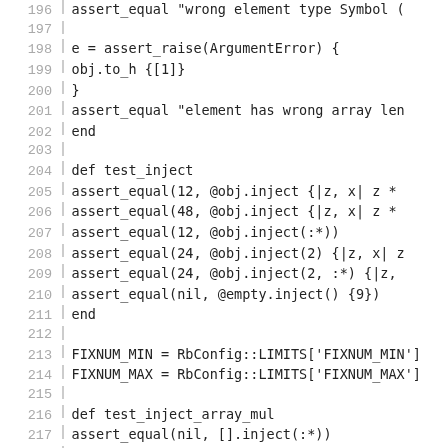[Figure (screenshot): Source code listing in monospaced font showing Ruby test methods with line numbers 196-226. Lines include assert_equal, assert_raise, def test_inject, def test_inject_array_mul, def test_inject_array_plus, FIXNUM_MIN and FIXNUM_MAX assignments, and various inject method calls on arrays and objects.]